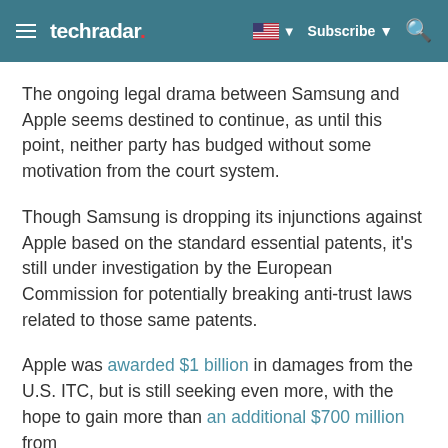techradar | Subscribe
The ongoing legal drama between Samsung and Apple seems destined to continue, as until this point, neither party has budged without some motivation from the court system.
Though Samsung is dropping its injunctions against Apple based on the standard essential patents, it's still under investigation by the European Commission for potentially breaking anti-trust laws related to those same patents.
Apple was awarded $1 billion in damages from the U.S. ITC, but is still seeking even more, with the hope to gain more than an additional $700 million from